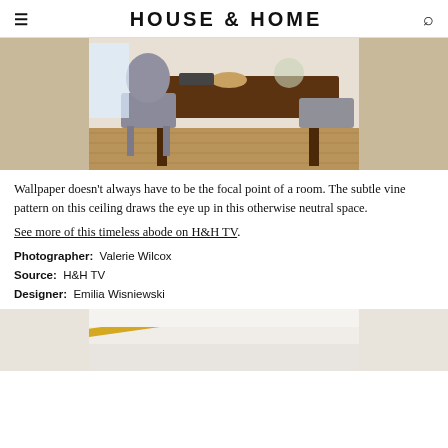HOUSE & HOME
[Figure (photo): Interior dining room scene with dark wood farmhouse table, gray upholstered French provincial chairs, and food/flowers on the table. Light hardwood floor and white walls visible. Ceiling has a subtle vine wallpaper pattern.]
Wallpaper doesn't always have to be the focal point of a room. The subtle vine pattern on this ceiling draws the eye up in this otherwise neutral space.
See more of this timeless abode on H&H TV.
Photographer: Valerie Wilcox
Source: H&H TV
Designer: Emilia Wisniewski
[Figure (photo): Close-up of white molding/trim with a yellow/gold accent stripe, likely a ceiling or wall detail.]